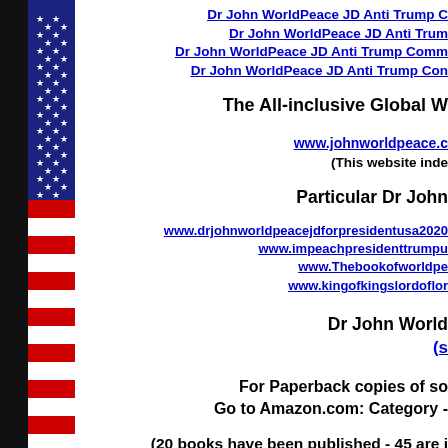[Figure (illustration): Left margin with black vertical bar and cropped American flag strip showing stars and red/white stripes]
Dr John WorldPeace JD Anti Trump C...
Dr John WorldPeace JD Anti Trum...
Dr John WorldPeace JD Anti Trump Comm...
Dr John WorldPeace JD Anti Trump Con...
The All-inclusive Global W...
www.johnworldpeace.c...
(This website inde...
Particular Dr John...
www.drjohnworldpeacejdforpresidentusa2020...
www.impeachpresidenttrumpu...
www.Thebookofworldpe...
www.kingofkingslordoflor...
Dr John World...
(s...
For Paperback copies of so...
Go to Amazon.com: Category -...
(20 books have been published - 45 are i...